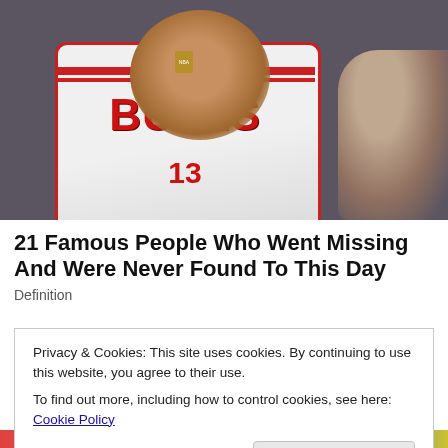[Figure (photo): A man wearing a Chicago Bulls NBA basketball jersey smiling, with another person partially visible on the right side of the frame. The photo is in color and appears to be from the 1990s.]
21 Famous People Who Went Missing And Were Never Found To This Day
Definition
Privacy & Cookies: This site uses cookies. By continuing to use this website, you agree to their use.
To find out more, including how to control cookies, see here: Cookie Policy
Close and accept